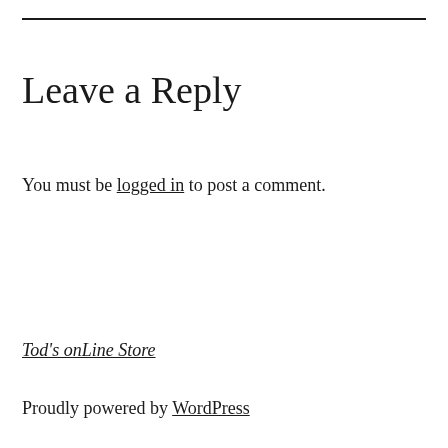Leave a Reply
You must be logged in to post a comment.
Tod's onLine Store
Proudly powered by WordPress